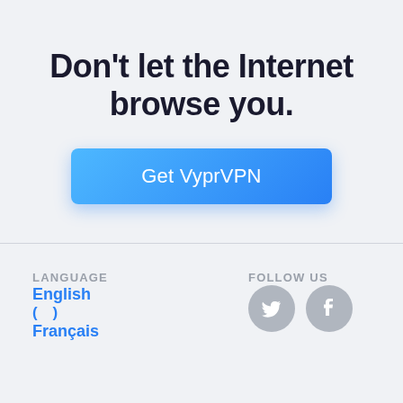Don't let the Internet browse you.
Get VyprVPN
LANGUAGE
English
(   )
Français
FOLLOW US